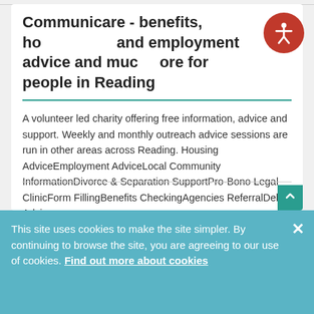Communicare - benefits, housing and employment advice and much more for people in Reading
A volunteer led charity offering free information, advice and support. Weekly and monthly outreach advice sessions are run in other areas across Reading. Housing AdviceEmployment AdviceLocal Community InformationDivorce & Separation SupportPro-Bono Legal ClinicForm FillingBenefits CheckingAgencies ReferralDebt Advice
This site uses cookies to make the site simpler. By continuing to browse the site, you are agreeing to our use of cookies. Find out more about cookies